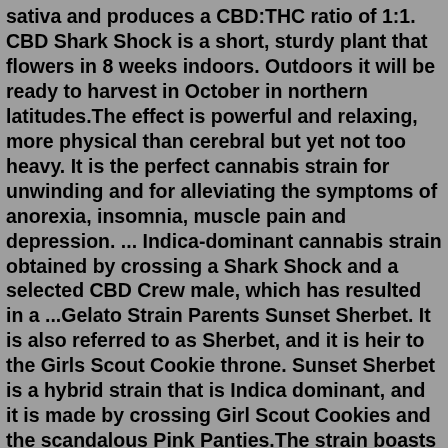sativa and produces a CBD:THC ratio of 1:1. CBD Shark Shock is a short, sturdy plant that flowers in 8 weeks indoors. Outdoors it will be ready to harvest in October in northern latitudes.The effect is powerful and relaxing, more physical than cerebral but yet not too heavy. It is the perfect cannabis strain for unwinding and for alleviating the symptoms of anorexia, insomnia, muscle pain and depression. ... Indica-dominant cannabis strain obtained by crossing a Shark Shock and a selected CBD Crew male, which has resulted in a ...Gelato Strain Parents Sunset Sherbet. It is also referred to as Sherbet, and it is heir to the Girls Scout Cookie throne. Sunset Sherbet is a hybrid strain that is Indica dominant, and it is made by crossing Girl Scout Cookies and the scandalous Pink Panties.The strain boasts of a THC concentration ranging between 18 -23 %, making it ideal for people looking for a potent high that will last ...Sierra is an evenly balanced hybrid strain (50% indica/50% sativa) created as a descendant of the classic Shark Shock strain. This tasty bud is the